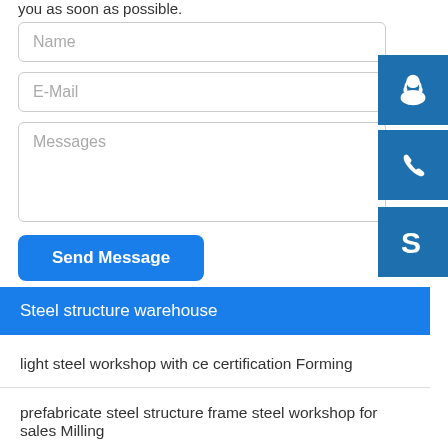you as soon as possible.
Name
E-Mail
Messages
Send Message
[Figure (illustration): Blue square icon with white customer support/headset person silhouette]
[Figure (illustration): Blue square icon with white telephone handset]
[Figure (illustration): Blue square icon with white Skype logo S]
Steel structure warehouse
light steel workshop with ce certification Forming
prefabricate steel structure frame steel workshop for sales Milling